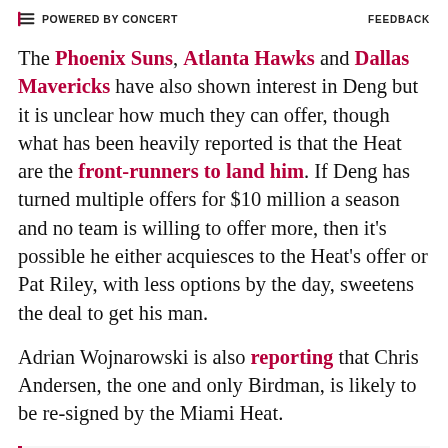POWERED BY CONCERT   FEEDBACK
The Phoenix Suns, Atlanta Hawks and Dallas Mavericks have also shown interest in Deng but it is unclear how much they can offer, though what has been heavily reported is that the Heat are the front-runners to land him. If Deng has turned multiple offers for $10 million a season and no team is willing to offer more, then it's possible he either acquiesces to the Heat's offer or Pat Riley, with less options by the day, sweetens the deal to get his man.
Adrian Wojnarowski is also reporting that Chris Andersen, the one and only Birdman, is likely to be re-signed by the Miami Heat.
Miami has been determined to reshape its roster and remain a contender without James, Heat president